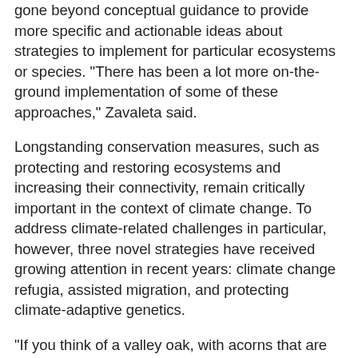gone beyond conceptual guidance to provide more specific and actionable ideas about strategies to implement for particular ecosystems or species. "There has been a lot more on-the-ground implementation of some of these approaches," Zavaleta said.
Longstanding conservation measures, such as protecting and restoring ecosystems and increasing their connectivity, remain critically important in the context of climate change. To address climate-related challenges in particular, however, three novel strategies have received growing attention in recent years: climate change refugia, assisted migration, and protecting climate-adaptive genetics.
"If you think of a valley oak, with acorns that are carried only a short distance by birds and are only viable in the year they are dropped, you can have connectivity but the trees are not going to move at the same pace as the drying that's happening in parts of their range," Zavaleta explained.
"So do we watch their range contract and disappear? Or do we bank them as seedlings in botanical gardens? And what do we need to be learning now about how to put them back